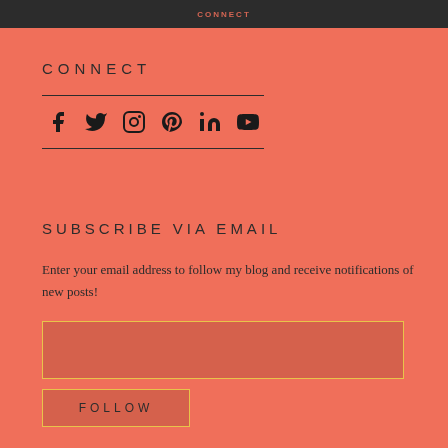CONNECT
[Figure (infographic): Social media icons row: Facebook, Twitter, Instagram, Pinterest, LinkedIn, YouTube — displayed between two horizontal lines]
SUBSCRIBE VIA EMAIL
Enter your email address to follow my blog and receive notifications of new posts!
[Figure (other): Email address input field with yellow border]
[Figure (other): FOLLOW button with yellow border]